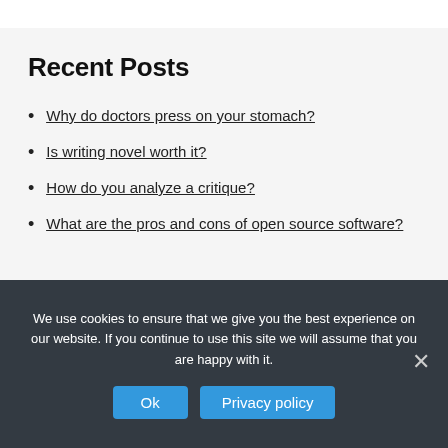Recent Posts
Why do doctors press on your stomach?
Is writing novel worth it?
How do you analyze a critique?
What are the pros and cons of open source software?
We use cookies to ensure that we give you the best experience on our website. If you continue to use this site we will assume that you are happy with it.